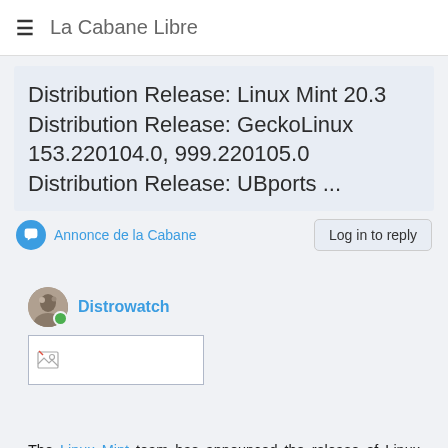La Cabane Libre
Distribution Release: Linux Mint 20.3 Distribution Release: GeckoLinux 153.220104.0, 999.220105.0 Distribution Release: UBports ...
Annonce de la Cabane
Log in to reply
Distrowatch
[Figure (photo): Broken image placeholder thumbnail]
The Linux Mint team has announced the release of Linux Mint 20.3 which is available in Cinnamon, MATE, and Xfce flavours. The distribution has polished a number of its desktop applications and utilities. "The